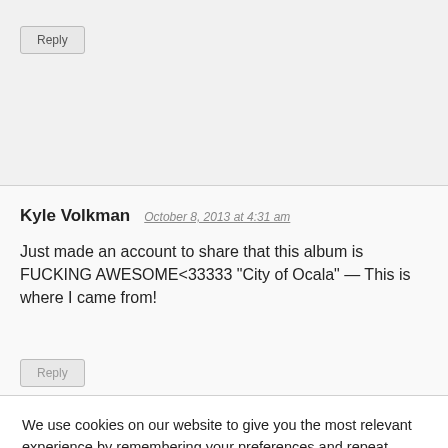Reply
Kyle Volkman   October 8, 2013 at 4:31 am
Just made an account to share that this album is FUCKING AWESOME<33333 "City of Ocala" — This is where I came from!
Reply
We use cookies on our website to give you the most relevant experience by remembering your preferences and repeat visits. By clicking "Accept All", you consent to the use of ALL the cookies. However, you may visit "Cookie Settings" to provide a controlled consent.
Cookie Settings
Accept All